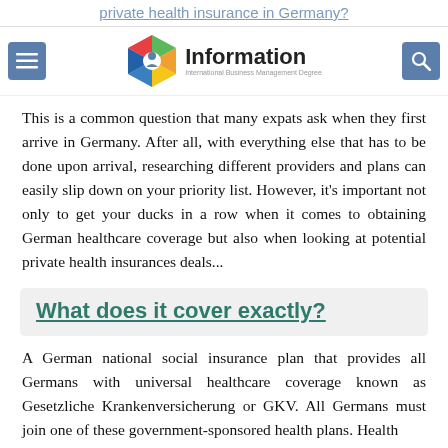private health insurance in Germany?
[Figure (logo): Information - International Business Management Degree logo with colorful hexagon icon]
This is a common question that many expats ask when they first arrive in Germany. After all, with everything else that has to be done upon arrival, researching different providers and plans can easily slip down on your priority list. However, it's important not only to get your ducks in a row when it comes to obtaining German healthcare coverage but also when looking at potential private health insurances deals...
What does it cover exactly?
A German national social insurance plan that provides all Germans with universal healthcare coverage known as Gesetzliche Krankenversicherung or GKV. All Germans must join one of these government-sponsored health plans. Health